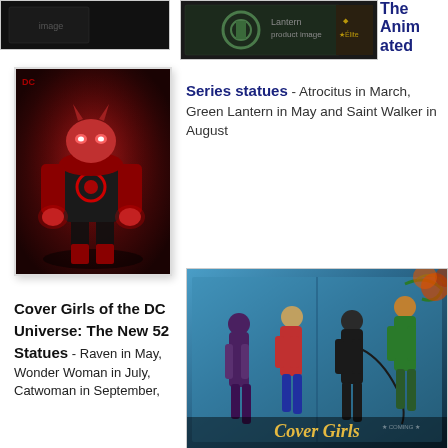[Figure (photo): Dark image in top left, partial view of a product or card with dark background]
[Figure (photo): Green Lantern product or packaging image in top center]
The Animated
[Figure (illustration): Atrocitus Red Lantern character statue/figure art - red alien figure in black suit with Red Lantern logo]
Series statues - Atrocitus in March, Green Lantern in May and Saint Walker in August
Cover Girls of the DC Universe: The New 52 Statues - Raven in May, Wonder Woman in July, Catwoman in September, ...
[Figure (photo): Cover Girls of the DC Universe statues promo image showing Huntress, Wonder Woman, Catwoman, Poison Ivy figures with 'Cover Girls' text at bottom]